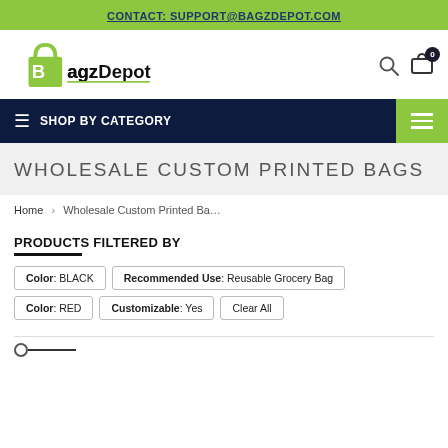CONTACT: SUPPORT@BAGZDEPOT.COM
[Figure (logo): BagzDepot logo with green shopping bag and bold text]
SHOP BY CATEGORY
WHOLESALE CUSTOM PRINTED BAGS
Home › Wholesale Custom Printed Ba...
PRODUCTS FILTERED BY
Color: BLACK
Recommended Use: Reusable Grocery Bag
Color: RED
Customizable: Yes
Clear All